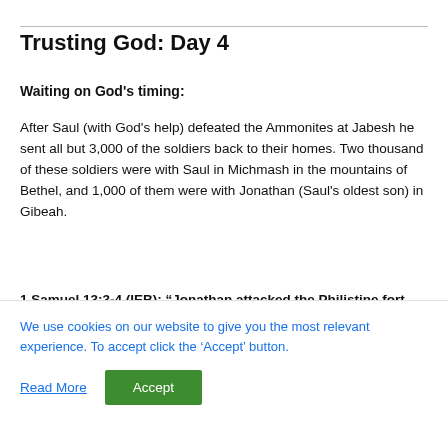Trusting God: Day 4
Waiting on God's timing:
After Saul (with God's help) defeated the Ammonites at Jabesh he sent all but 3,000 of the soldiers back to their homes. Two thousand of these soldiers were with Saul in Michmash in the mountains of Bethel, and 1,000 of them were with Jonathan (Saul's oldest son) in Gibeah.
1 Samuel 13:3-4 (IEB): “Jonathan attacked the Philistine fort that was in Geba. And the other Philistines heard about it. Saul said. ‘Let the Hebrew people hear what has happened’.
We use cookies on our website to give you the most relevant experience. To accept click the ‘Accept’ button.
Read More
Accept